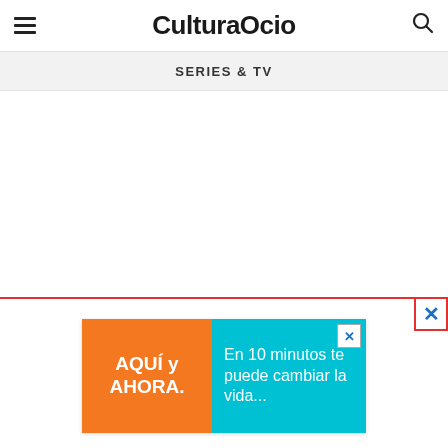CulturaOcio
SERIES & TV
[Figure (other): Advertisement banner: orange left panel with text 'AQUÍ y AHORA.' and cyan/teal right panel with text 'En 10 minutos te puede cambiar la vida...' with a close X button]